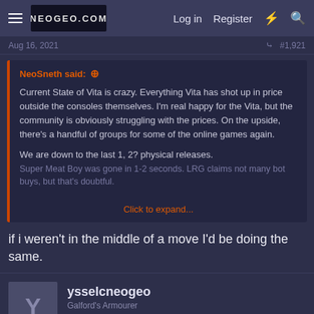Log in  Register  [lightning] [search]
Aug 16, 2021  #1,921
NeoSneth said: ↑
Current State of Vita is crazy. Everything Vita has shot up in price outside the consoles themselves. I'm real happy for the Vita, but the community is obviously struggling with the prices. On the upside, there's a handful of groups for some of the online games again.

We are down to the last 1, 2? physical releases.
Super Meat Boy was gone in 1-2 seconds. LRG claims not many bot buys, but that's doubtful.
Click to expand...
if i weren't in the middle of a move I'd be doing the same.
ysselcneogeo
Galford's Armourer
[badge] 10 Year Member
Aug 20, 2021  #1,922
pixeljunkie said: ↑